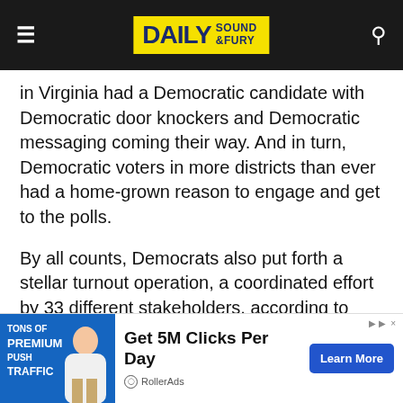DAILY SOUND & FURY
in Virginia had a Democratic candidate with Democratic door knockers and Democratic messaging coming their way. And in turn, Democratic voters in more districts than ever had a home-grown reason to engage and get to the polls.
By all counts, Democrats also put forth a stellar turnout operation, a coordinated effort by 33 different stakeholders, according to DNC chair Perez. The result of the one-two punch was
[Figure (other): Advertisement banner: 'Get 5M Clicks Per Day' with Learn More button, from RollerAds]